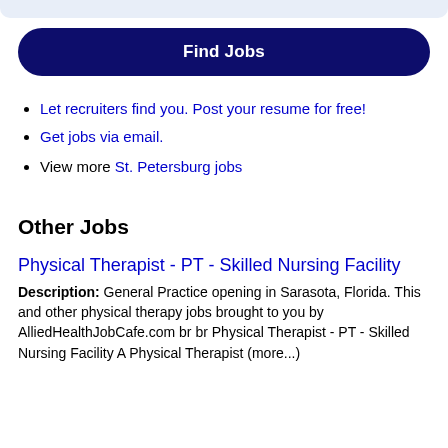[Figure (other): Top gray rounded bar at top of page, partially visible]
[Figure (other): Find Jobs button - dark navy blue rounded rectangle button]
Let recruiters find you. Post your resume for free!
Get jobs via email.
View more St. Petersburg jobs
Other Jobs
Physical Therapist - PT - Skilled Nursing Facility
Description: General Practice opening in Sarasota, Florida. This and other physical therapy jobs brought to you by AlliedHealthJobCafe.com br br Physical Therapist - PT - Skilled Nursing Facility A Physical Therapist (more...)